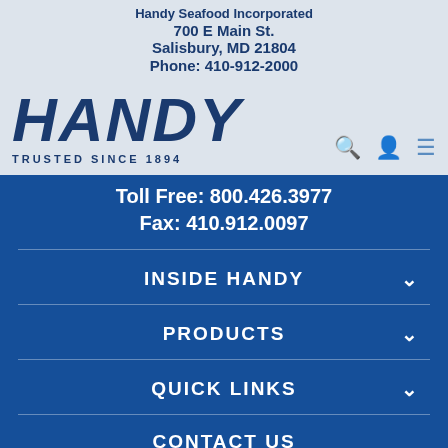[Figure (logo): HANDY logo with 'TRUSTED SINCE 1894' tagline in dark blue]
Handy Seafood Incorporated
700 E Main St.
Salisbury, MD 21804
Phone: 410-912-2000
Toll Free: 800.426.3977
Fax: 410.912.0097
INSIDE HANDY
PRODUCTS
QUICK LINKS
CONTACT US
LOGIN
PRIVACY POLICY